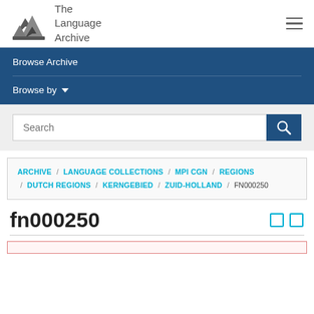The Language Archive
Browse Archive
Browse by
Search
ARCHIVE / LANGUAGE COLLECTIONS / MPI CGN / REGIONS / DUTCH REGIONS / KERNGEBIED / ZUID-HOLLAND / FN000250
fn000250